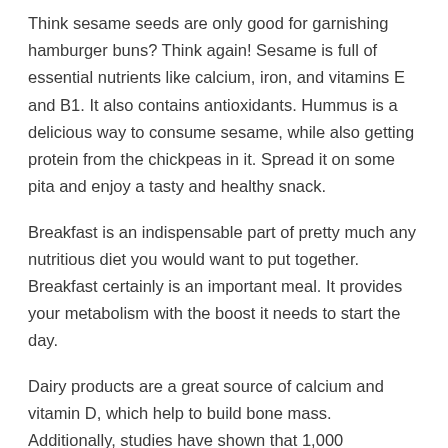Think sesame seeds are only good for garnishing hamburger buns? Think again! Sesame is full of essential nutrients like calcium, iron, and vitamins E and B1. It also contains antioxidants. Hummus is a delicious way to consume sesame, while also getting protein from the chickpeas in it. Spread it on some pita and enjoy a tasty and healthy snack.
Breakfast is an indispensable part of pretty much any nutritious diet you would want to put together. Breakfast certainly is an important meal. It provides your metabolism with the boost it needs to start the day.
Dairy products are a great source of calcium and vitamin D, which help to build bone mass. Additionally, studies have shown that 1,000...